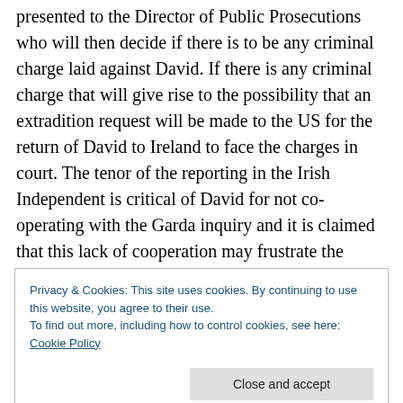presented to the Director of Public Prosecutions who will then decide if there is to be any criminal charge laid against David. If there is any criminal charge that will give rise to the possibility that an extradition request will be made to the US for the return of David to Ireland to face the charges in court. The tenor of the reporting in the Irish Independent is critical of David for not co-operating with the Garda inquiry and it is claimed that this lack of cooperation may frustrate the Garda inquiry and the laying of charges against Davod. That would all seem to be disingenuous; after all if David is concerned that he may
Privacy & Cookies: This site uses cookies. By continuing to use this website, you agree to their use.
To find out more, including how to control cookies, see here: Cookie Policy
Close and accept
not the tenor of the reporting that can be attributed to forming his